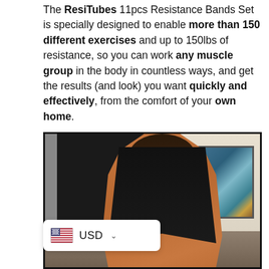The ResiTubes 11pcs Resistance Bands Set is specially designed to enable more than 150 different exercises and up to 150lbs of resistance, so you can work any muscle group in the body in countless ways, and get the results (and look) you want quickly and effectively, from the comfort of your own home.
[Figure (photo): A shirtless muscular man performing a resistance band exercise near a dark door frame, with a colorful painting on the wall in the background. A USD currency selector badge appears in the lower left overlay.]